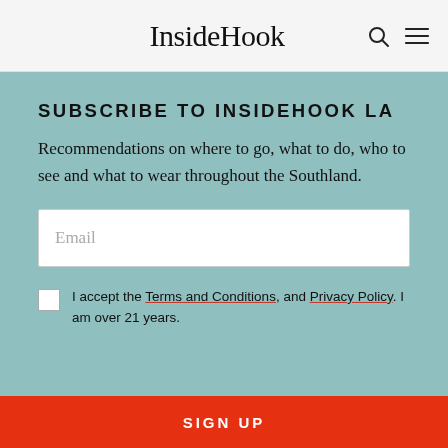InsideHook
SUBSCRIBE TO INSIDEHOOK LA
Recommendations on where to go, what to do, who to see and what to wear throughout the Southland.
Email
I accept the Terms and Conditions, and Privacy Policy. I am over 21 years.
SIGN UP